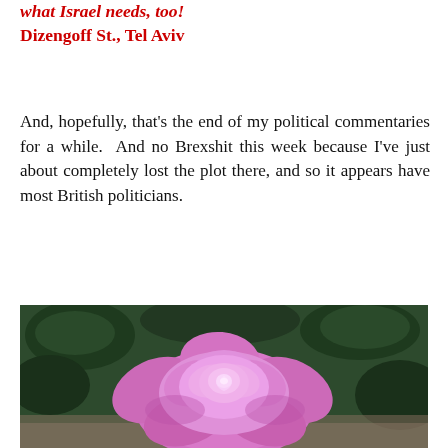what Israel needs, too! Dizengoff St., Tel Aviv
And, hopefully, that's the end of my political commentaries for a while.  And no Brexshit this week because I've just about completely lost the plot there, and so it appears have most British politicians.
[Figure (photo): Close-up photograph of a pink/lavender rose in bloom with dark green leaves visible in the background.]